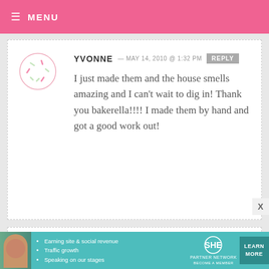MENU
YVONNE — MAY 14, 2010 @ 1:32 PM REPLY
I just made them and the house smells amazing and I can't wait to dig in! Thank you bakerella!!!! I made them by hand and got a good work out!
CAT — MAY 14, 2010 @ 12:31 PM REPLY
I saw this post yesterday and had to run home and bake them right away!
[Figure (infographic): SHE Partner Network advertisement banner with photo, bullet points about earning site, traffic growth, speaking on stages, and a Learn More button]